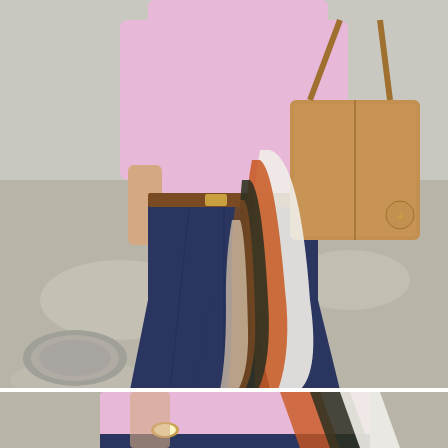[Figure (photo): Street style fashion photo showing a woman from neck to knees wearing a light pink long-sleeve fitted top, dark navy blue flare/bootcut jeans with a brown leather belt. She is carrying a tan/camel colored Michael Kors tote bag over her shoulder with a patterned scarf (orange, black, white, brown) draped over it. Background is a sunny sidewalk/street scene.]
[Figure (photo): Close-up cropped photo showing the woman's torso in the same pink long-sleeve top and dark jeans, with the patterned scarf visible. A watch is visible on her wrist.]